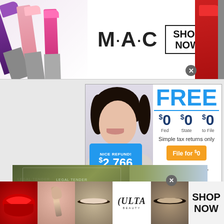[Figure (photo): MAC Cosmetics advertisement banner with lipsticks on left and right, MAC logo in center, SHOP NOW box, lipsticks in purple, pink, hot pink, red]
[Figure (infographic): TurboTax FREE tax filing advertisement: FREE in large blue text, $0 Fed $0 State $0 to File, woman holding sign reading NICE REFUND! $2,766 FEDERAL, File for $0 orange button, Maximum refund, guaranteed.]
[Figure (photo): Partial advertisement showing money/dollar bills with green and blue tones]
[Figure (infographic): Ulta Beauty advertisement banner at bottom with makeup photos (lips, brush, eyes) and ULTA logo and SHOP NOW text]